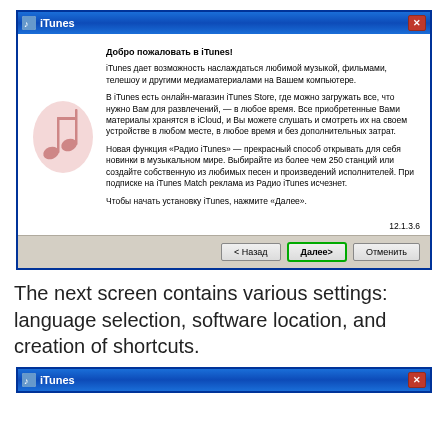[Figure (screenshot): iTunes installer welcome dialog in Russian, showing welcome text with iTunes music note logo. Buttons: < Назад, Далее> (highlighted in green), Отменить. Version 12.1.3.6 shown.]
The next screen contains various settings: language selection, software location, and creation of shortcuts.
[Figure (screenshot): Partial iTunes installer dialog titlebar visible at bottom of page.]